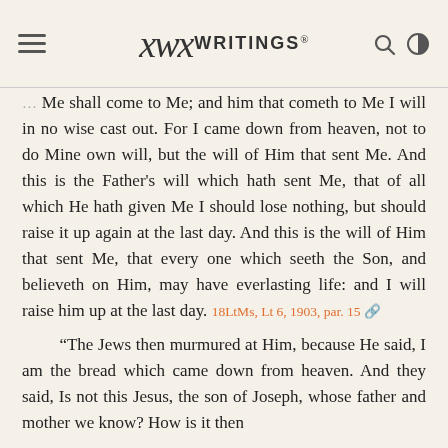EGW WRITINGS®
Me shall come to Me; and him that cometh to Me I will in no wise cast out. For I came down from heaven, not to do Mine own will, but the will of Him that sent Me. And this is the Father's will which hath sent Me, that of all which He hath given Me I should lose nothing, but should raise it up again at the last day. And this is the will of Him that sent Me, that every one which seeth the Son, and believeth on Him, may have everlasting life: and I will raise him up at the last day. 18LtMs, Lt 6, 1903, par. 15
“The Jews then murmured at Him, because He said, I am the bread which came down from heaven. And they said, Is not this Jesus, the son of Joseph, whose father and mother we know? How is it then